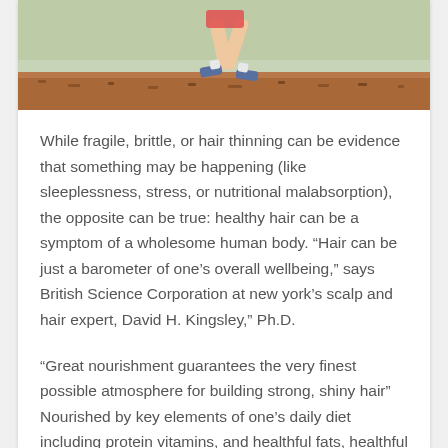[Figure (photo): Person running outdoors, showing legs and running shoes, with a reddish-brown ground surface below]
While fragile, brittle, or hair thinning can be evidence that something may be happening (like sleeplessness, stress, or nutritional malabsorption), the opposite can be true: healthy hair can be a symptom of a wholesome human body. “Hair can be just a barometer of one’s overall wellbeing,” says British Science Corporation at new york’s scalp and hair expert, David H. Kingsley,” Ph.D.
“Great nourishment guarantees the very finest possible atmosphere for building strong, shiny hair” Nourished by key elements of one’s daily diet including protein vitamins, and healthful fats, healthful hair reveals you are eating well and consuming all the fantastic stuff from the meal.